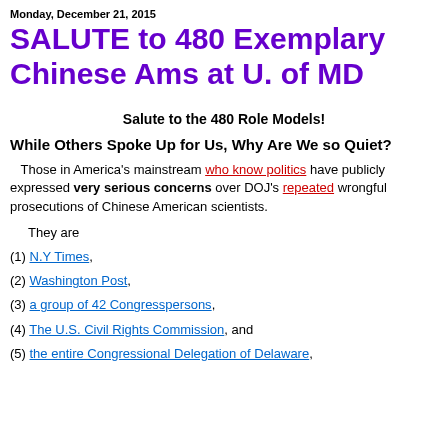Monday, December 21, 2015
SALUTE to 480 Exemplary Chinese Ams at U. of MD
Salute to the 480 Role Models!
While Others Spoke Up for Us, Why Are We so Quiet?
Those in America's mainstream who know politics have publicly expressed very serious concerns over DOJ's repeated wrongful prosecutions of Chinese American scientists.
They are
(1) N.Y Times,
(2) Washington Post,
(3) a group of 42 Congresspersons,
(4) The U.S. Civil Rights Commission, and
(5) the entire Congressional Delegation of Delaware,